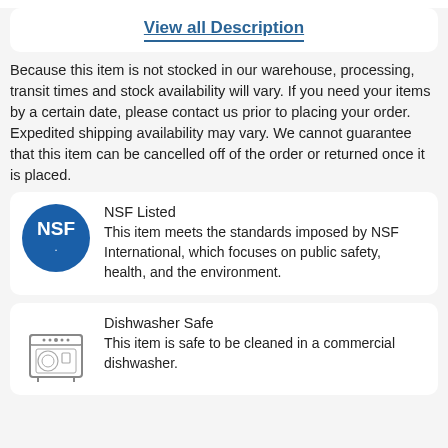View all Description
Because this item is not stocked in our warehouse, processing, transit times and stock availability will vary. If you need your items by a certain date, please contact us prior to placing your order. Expedited shipping availability may vary. We cannot guarantee that this item can be cancelled off of the order or returned once it is placed.
[Figure (logo): NSF blue circular logo with white text 'NSF.']
NSF Listed
This item meets the standards imposed by NSF International, which focuses on public safety, health, and the environment.
[Figure (illustration): Dishwasher icon - line drawing of a commercial dishwasher appliance]
Dishwasher Safe
This item is safe to be cleaned in a commercial dishwasher.